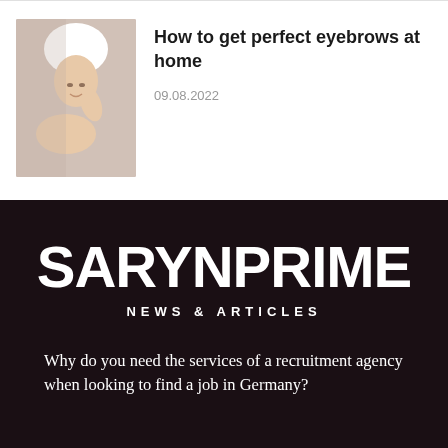[Figure (photo): Woman with white towel on head looking in mirror, beauty/skincare context]
How to get perfect eyebrows at home
09.08.2022
[Figure (logo): SARYNPRIME NEWS & ARTICLES logo on dark background]
Why do you need the services of a recruitment agency when looking to find a job in Germany?